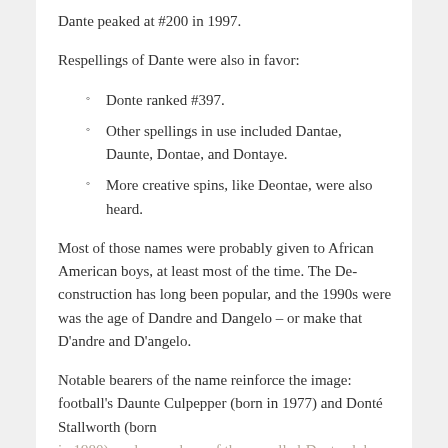Dante peaked at #200 in 1997.
Respellings of Dante were also in favor:
Donte ranked #397.
Other spellings in use included Dantae, Daunte, Dontae, and Dontaye.
More creative spins, like Deontae, were also heard.
Most of those names were probably given to African American boys, at least most of the time. The De-construction has long been popular, and the 1990s were was the age of Dandre and Dangelo – or make that D'andre and D'angelo.
Notable bearers of the name reinforce the image: football's Daunte Culpepper (born in 1977) and Donté Stallworth (born in 1980), early members of the respelled-Dante club. The NBA gives us a Dontae and a Dahntay.